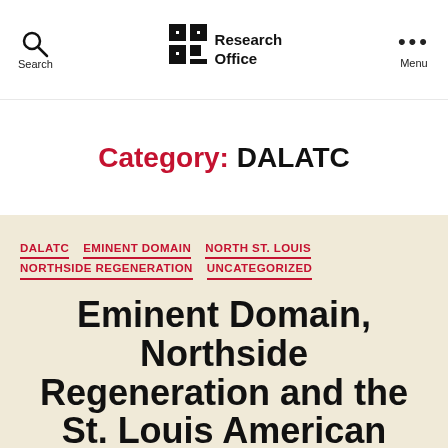Search | Preservation Research Office | Menu
Category: DALATC
DALATC  EMINENT DOMAIN  NORTH ST. LOUIS  NORTHSIDE REGENERATION  UNCATEGORIZED
Eminent Domain, Northside Regeneration and the St. Louis American